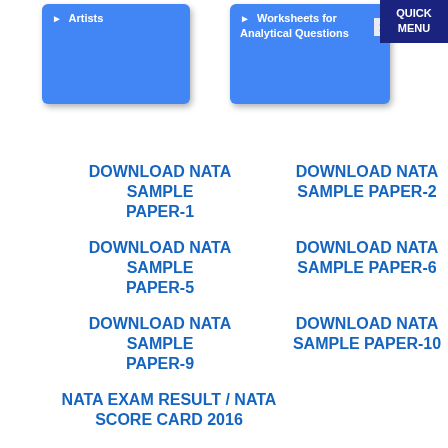[Figure (screenshot): Blue card with 'Artists' menu item]
[Figure (screenshot): Blue card with 'Worksheets for Analytical Questions' menu item]
[Figure (screenshot): Quick Menu dark blue button in top right corner]
DOWNLOAD NATA SAMPLE PAPER-1
DOWNLOAD NATA SAMPLE PAPER-2
DOWNLOAD NATA SAMPLE PAPER-5
DOWNLOAD NATA SAMPLE PAPER-6
DOWNLOAD NATA SAMPLE PAPER-9
DOWNLOAD NATA SAMPLE PAPER-10
NATA EXAM RESULT / NATA SCORE CARD 2016